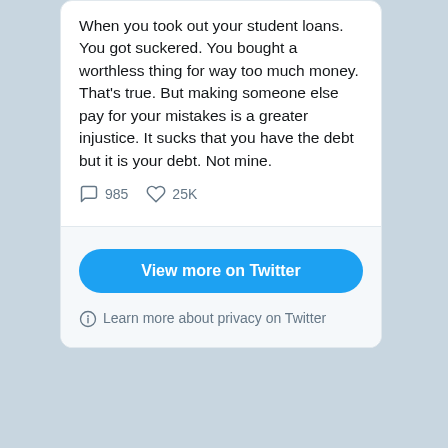When you took out your student loans. You got suckered. You bought a worthless thing for way too much money. That's true. But making someone else pay for your mistakes is a greater injustice. It sucks that you have the debt but it is your debt. Not mine.
985 comments  25K likes
View more on Twitter
Learn more about privacy on Twitter